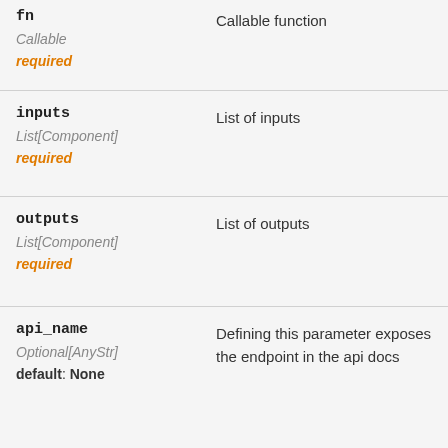| Parameter | Description |
| --- | --- |
| fn
Callable
required | Callable function |
| inputs
List[Component]
required | List of inputs |
| outputs
List[Component]
required | List of outputs |
| api_name
Optional[AnyStr]
default: None | Defining this parameter exposes the endpoint in the api docs |